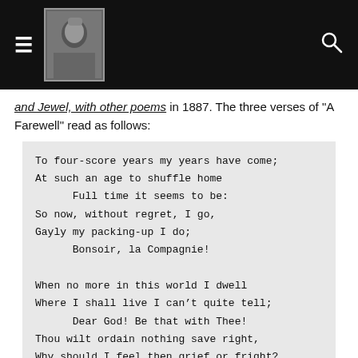[Navigation header with hamburger menu, portrait photo, and search icon]
and Jewel, with other poems in 1887. The three verses of "A Farewell" read as follows:
To four-score years my years have come;
At such an age to shuffle home
      Full time it seems to be:
So now, without regret, I go,
Gayly my packing-up I do;
      Bonsoir, la Compagnie!

When no more in this world I dwell
Where I shall live I can’t quite tell;
      Dear God! Be that with Thee!
Thou wilt ordain nothing save right,
Why should I feel then grief or fright?
      Bonsoir, la Compagnie!